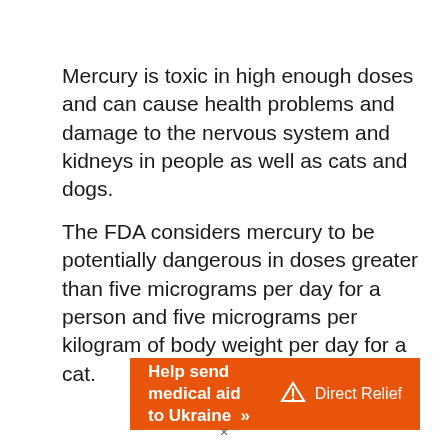Mercury is toxic in high enough doses and can cause health problems and damage to the nervous system and kidneys in people as well as cats and dogs.
The FDA considers mercury to be potentially dangerous in doses greater than five micrograms per day for a person and five micrograms per kilogram of body weight per day for a cat.
[Figure (other): Orange advertisement banner reading 'Help send medical aid to Ukraine >>' with Direct Relief logo on the right]